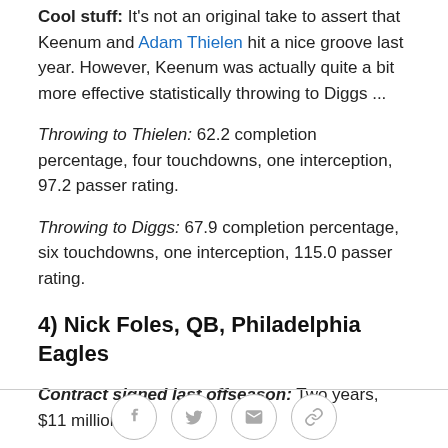Cool stuff: It's not an original take to assert that Keenum and Adam Thielen hit a nice groove last year. However, Keenum was actually quite a bit more effective statistically throwing to Diggs ...
Throwing to Thielen: 62.2 completion percentage, four touchdowns, one interception, 97.2 passer rating.
Throwing to Diggs: 67.9 completion percentage, six touchdowns, one interception, 115.0 passer rating.
4) Nick Foles, QB, Philadelphia Eagles
Contract signed last offseason: Two years, $11 million.
Social share icons: Facebook, Twitter, Email, Link